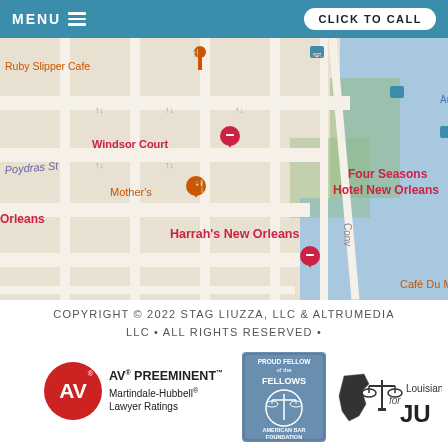MENU | CLICK TO CALL
[Figure (map): Google Maps view of New Orleans downtown area showing Ruby Slipper Cafe, Windsor Court, Mother's, Four Seasons Hotel New Orleans, Harrah's New Orleans, Cafe Du Monde, The Outlet Collection at Riverwalk, Audubon Aquarium]
COPYRIGHT © 2022 STAG LIUZZA, LLC & ALTRUMEDIA LLC • ALL RIGHTS RESERVED •
[Figure (logo): AV Preeminent Martindale-Hubbell Lawyer Ratings logo]
[Figure (logo): Proud Fellow of the American Bar Foundation badge]
[Figure (logo): Louisiana for Justice logo]